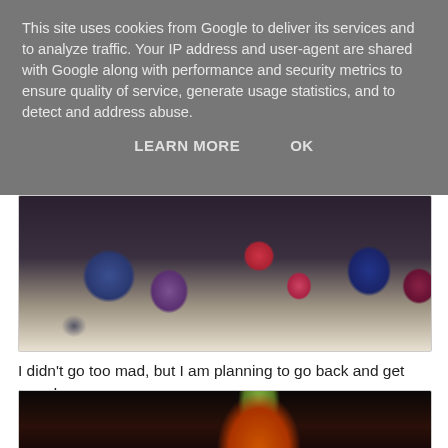This site uses cookies from Google to deliver its services and to analyze traffic. Your IP address and user-agent are shared with Google along with performance and security metrics to ensure quality of service, generate usage statistics, and to detect and address abuse.
LEARN MORE    OK
[Figure (photo): Photo of colorful patterned fabric or wrapping paper with polka dots and pear/teardrop shapes in blue, purple, red on a light background, viewed from above in dim lighting.]
I didn't go too mad, but I am planning to go back and get more!
This little Halloween candle holder was too hard to resist
[Figure (photo): Photo of a Halloween candle holder, appears to be a green stem/base with orange pumpkin shape, photographed in dark lighting with warm orange glow.]